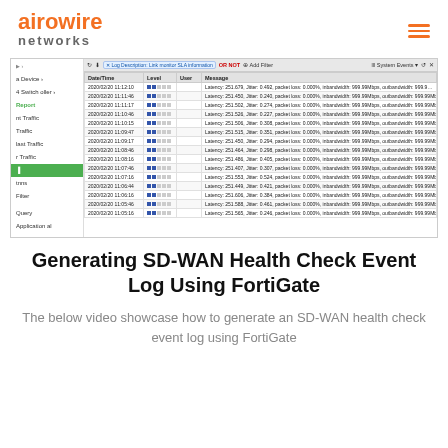[Figure (logo): Airowire Networks logo in orange with hamburger menu icon]
[Figure (screenshot): FortiGate log viewer screenshot showing SD-WAN health check event logs with columns: Date/Time, Level, User, Message. Multiple rows with timestamps around 2020/02/20 11:05-11:12, showing latency, jitter, packet loss, and bandwidth metrics.]
Generating SD-WAN Health Check Event Log Using FortiGate
The below video showcase how to generate an SD-WAN health check event log using FortiGate